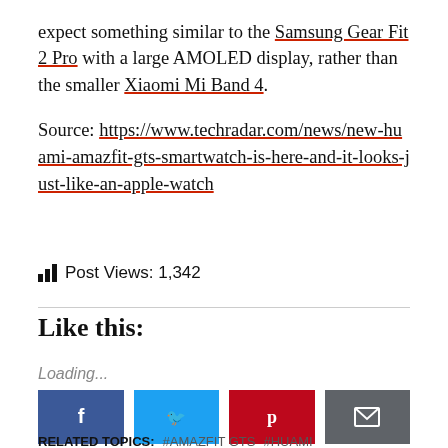expect something similar to the Samsung Gear Fit 2 Pro with a large AMOLED display, rather than the smaller Xiaomi Mi Band 4.
Source: https://www.techradar.com/news/new-huami-amazfit-gts-smartwatch-is-here-and-it-looks-just-like-an-apple-watch
Post Views: 1,342
Like this:
Loading...
[Figure (other): Social share buttons: Facebook, Twitter, Pinterest, Email]
RELATED TOPICS: #AMAZFIT GTS  #HUAMI